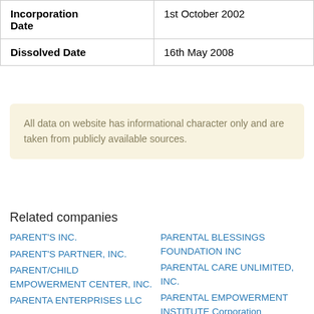| Field | Value |
| --- | --- |
| Incorporation Date | 1st October 2002 |
| Dissolved Date | 16th May 2008 |
All data on website has informational character only and are taken from publicly available sources.
Related companies
PARENT'S INC.
PARENT'S PARTNER, INC.
PARENT/CHILD EMPOWERMENT CENTER, INC.
PARENTA ENTERPRISES LLC
PARENTAL BLESSINGS FOUNDATION INC
PARENTAL CARE UNLIMITED, INC.
PARENTAL EMPOWERMENT INSTITUTE Corporation